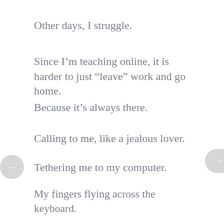Other days, I struggle.
Since I'm teaching online, it is harder to just “leave” work and go home.
Because it’s always there.
Calling to me, like a jealous lover.
Tethering me to my computer.
My fingers flying across the keyboard.
Jumping from open tab to open tab.
Then, the next day I am flummoxed because I